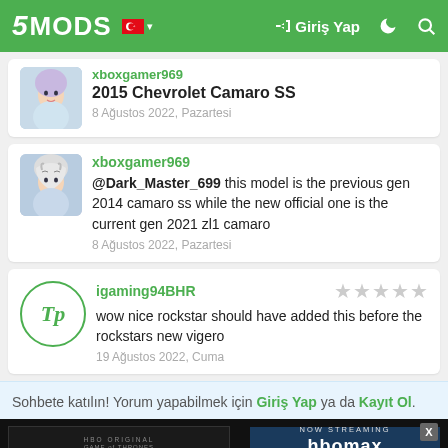5MODS | Giriş Yap
xboxgamer969
2015 Chevrolet Camaro SS
8 Ağustos 2022, Pazartesi
xboxgamer969
@Dark_Master_699 this model is the previous gen 2014 camaro ss while the new official one is the current gen 2021 zl1 camaro
8 Ağustos 2022, Pazartesi
igaming94BHR
wow nice rockstar should have added this before the rockstars new vigero
19 Ağustos 2022, Cuma
Sohbete katılın! Yorum yapabilmek için Giriş Yap ya da Kayıt Ol.
[Figure (screenshot): House of the Dragon HBO Max advertisement banner]